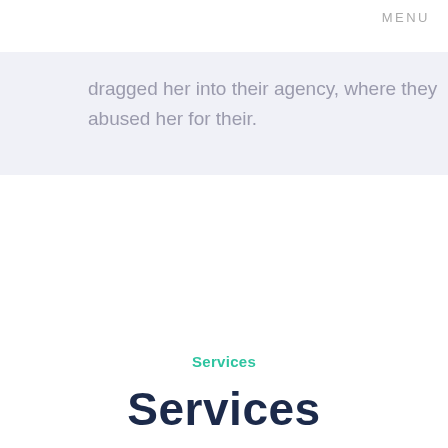MENU
dragged her into their agency, where they abused her for their.
Services
Services